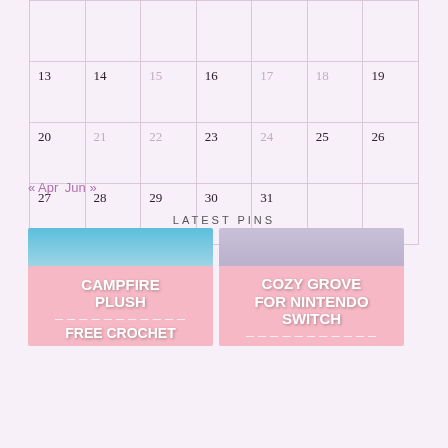| Sun | Mon | Tue | Wed | Thu | Fri | Sat |
| --- | --- | --- | --- | --- | --- | --- |
|  |  |  |  |  |  |  |
| 13 | 14 | 15 | 16 | 17 | 18 | 19 |
| 20 | 21 | 22 | 23 | 24 | 25 | 26 |
| 27 | 28 | 29 | 30 | 31 |  |  |
« Apr   Jun »
LATEST PINS
[Figure (illustration): Pinterest pin card for Campfire Plush Free Crochet pattern, pink background with sunflower/crochet image at top]
[Figure (illustration): Pinterest pin card for Cozy Grove for Nintendo Switch game review, purple/pink background with game screenshot at top]